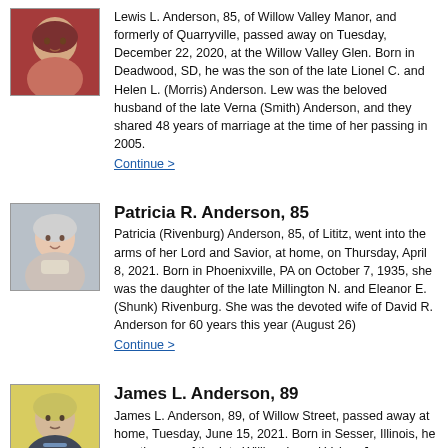[Figure (photo): Portrait photo of Lewis L. Anderson, elderly man in red shirt]
Lewis L. Anderson, 85, of Willow Valley Manor, and formerly of Quarryville, passed away on Tuesday, December 22, 2020, at the Willow Valley Glen. Born in Deadwood, SD, he was the son of the late Lionel C. and Helen L. (Morris) Anderson. Lew was the beloved husband of the late Verna (Smith) Anderson, and they shared 48 years of marriage at the time of her passing in 2005.
Continue >
Patricia R. Anderson, 85
[Figure (photo): Portrait photo of Patricia R. Anderson, elderly woman smiling]
Patricia (Rivenburg) Anderson, 85, of Lititz, went into the arms of her Lord and Savior, at home, on Thursday, April 8, 2021. Born in Phoenixville, PA on October 7, 1935, she was the daughter of the late Millington N. and Eleanor E. (Shunk) Rivenburg. She was the devoted wife of David R. Anderson for 60 years this year (August 26)
Continue >
James L. Anderson, 89
[Figure (photo): Portrait photo of James L. Anderson, elderly man in dark suit]
James L. Anderson, 89, of Willow Street, passed away at home, Tuesday, June 15, 2021. Born in Sesser, Illinois, he was the son of the late William L. and Velma J. (Hedgepeth) Anderson. Jim was the loving husband of Mary Jean (Martin) Anderson, with whom he celebrated 40